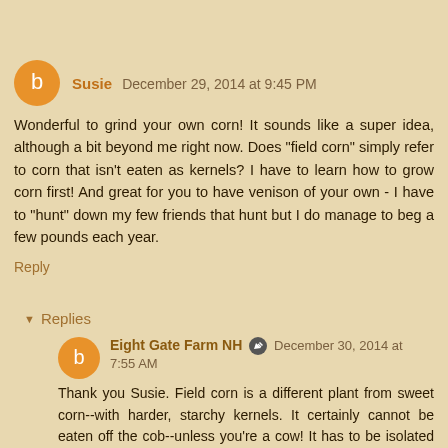Susie  December 29, 2014 at 9:45 PM
Wonderful to grind your own corn! It sounds like a super idea, although a bit beyond me right now. Does "field corn" simply refer to corn that isn't eaten as kernels? I have to learn how to grow corn first! And great for you to have venison of your own - I have to "hunt" down my few friends that hunt but I do manage to beg a few pounds each year.
Reply
Replies
Eight Gate Farm NH  December 30, 2014 at 7:55 AM
Thank you Susie. Field corn is a different plant from sweet corn--with harder, starchy kernels. It certainly cannot be eaten off the cob--unless you're a cow! It has to be isolated from sweet corn too. Sadly, despite trying, I did not bag a deer this year. Our freezer supply is dwindling.